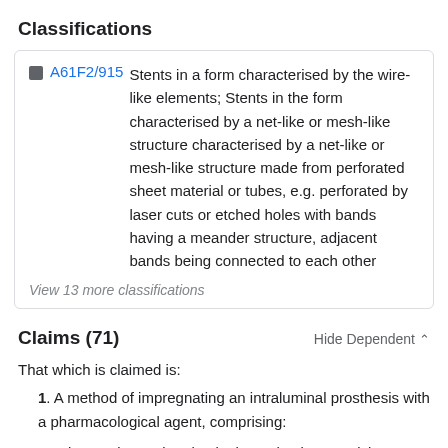Classifications
A61F2/915  Stents in a form characterised by the wire-like elements; Stents in the form characterised by a net-like or mesh-like structure characterised by a net-like or mesh-like structure made from perforated sheet material or tubes, e.g. perforated by laser cuts or etched holes with bands having a meander structure, adjacent bands being connected to each other
View 13 more classifications
Claims (71)
That which is claimed is:
1. A method of impregnating an intraluminal prosthesis with a pharmacological agent, comprising:
immersing an intraluminal prosthesis comprising polymeric material in a mixture of a carrier fluid and a pharmacological agent;